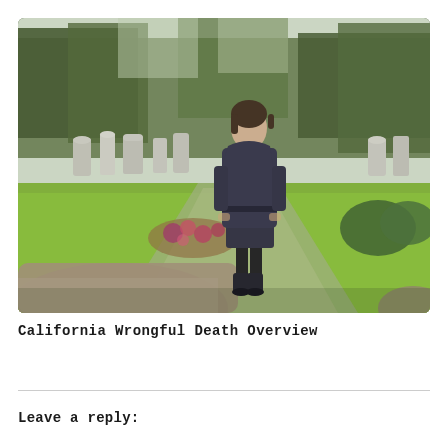[Figure (photo): A woman in a dark navy coat standing in a cemetery among gravestones and green lawns with trees in the background, viewed from a low angle with a gravestone in the foreground.]
California Wrongful Death Overview
Leave a reply: